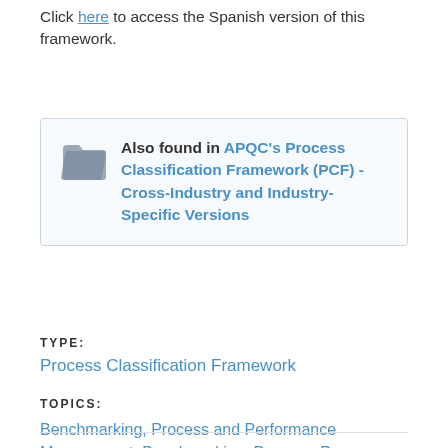Click here to access the Spanish version of this framework.
Also found in APQC's Process Classification Framework (PCF) - Cross-Industry and Industry-Specific Versions
TYPE:
Process Classification Framework
TOPICS:
Benchmarking, Process and Performance Management, Benchmarking, Process, Process Framework